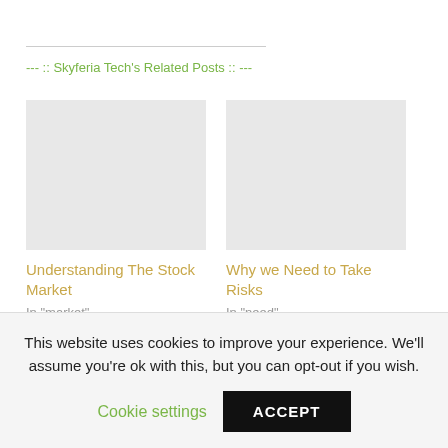--- :: Skyferia Tech's Related Posts :: ---
Understanding The Stock Market
In "market"
Why we Need to Take Risks
In "need"
This website uses cookies to improve your experience. We'll assume you're ok with this, but you can opt-out if you wish.
Cookie settings  ACCEPT